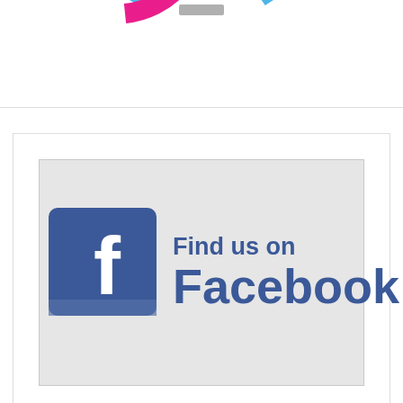[Figure (donut-chart): Partial donut chart visible at top of page, pink and blue segments]
[Figure (logo): Find us on Facebook banner with Facebook logo icon (blue square with white f) and text 'Find us on Facebook' in dark blue]
[Figure (other): Gray footer area with faint watermark logo (star/cog emblem) and a gray scroll-to-top button with upward arrow in bottom right corner]